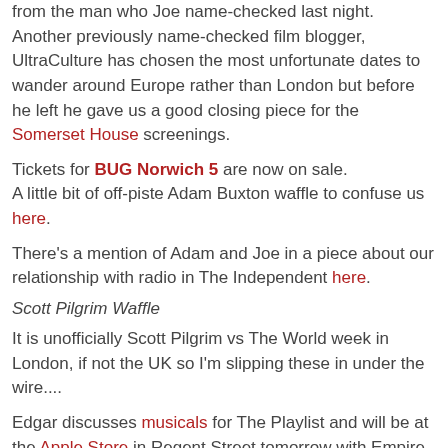from the man who Joe name-checked last night. Another previously name-checked film blogger, UltraCulture has chosen the most unfortunate dates to wander around Europe rather than London but before he left he gave us a good closing piece for the Somerset House screenings.
Tickets for BUG Norwich 5 are now on sale.
A little bit of off-piste Adam Buxton waffle to confuse us here.
There's a mention of Adam and Joe in a piece about our relationship with radio in The Independent here.
Scott Pilgrim Waffle
It is unofficially Scott Pilgrim vs The World week in London, if not the UK so I'm slipping these in under the wire....
Edgar discusses musicals for The Playlist and will be at the Apple Store in Regent Street tomorrow with Empire.
There can only be a few more days left to grab your special copy of Empire this month.